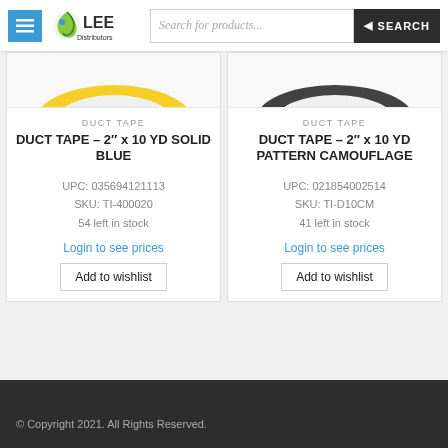Lee Distributors - Search for products... SEARCH
[Figure (screenshot): Top portion of product image for DUCT TAPE - 2" x 10 YD SOLID BLUE, showing yellow/white color at bottom of image]
[Figure (screenshot): Top portion of product image for DUCT TAPE - 2" x 10 YD PATTERN CAMOUFLAGE, showing dark/black color at bottom of image]
DUCT TAPE
DUCT TAPE – 2" x 10 YD SOLID BLUE
UPC: 035694121113
SKU: TI-400020
54 left in stock
Login to see prices
Add to wishlist
DUCT TAPE
DUCT TAPE – 2" x 10 YD PATTERN CAMOUFLAGE
UPC: 021854002514
SKU: TI-D10CM
41 left in stock
Login to see prices
Add to wishlist
© Copyright 2021. All Rights Reserved.